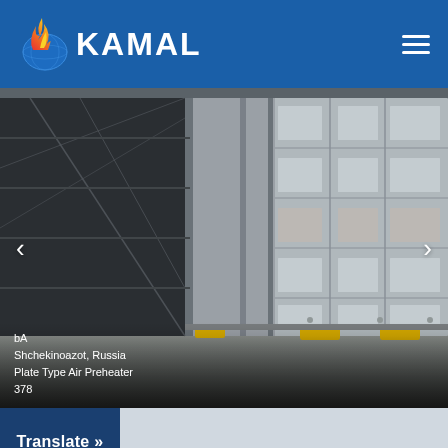[Figure (logo): Kamal company logo with flame/globe icon and KAMAL text in white on blue background]
[Figure (photo): Large industrial air preheater equipment (plate type) in a factory/warehouse setting, showing a tall metal structure with grid panels, yellow base supports, and bracing cables. Partially cut off on the left side.]
bA
Shchekinoazot, Russia
Plate Type Air Preheater
378
Translate »